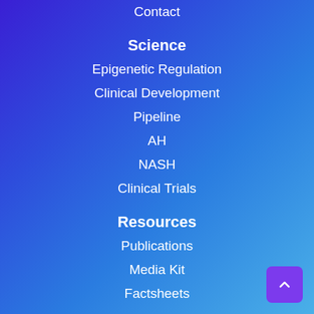Contact
Science
Epigenetic Regulation
Clinical Development
Pipeline
AH
NASH
Clinical Trials
Resources
Publications
Media Kit
Factsheets
Investors
Overview
Stock Information